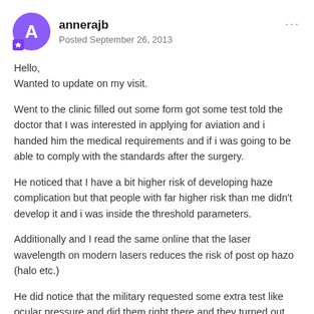annerajb | Posted September 26, 2013
Hello,
Wanted to update on my visit.
Went to the clinic filled out some form got some test told the doctor that I was interested in applying for aviation and i handed him the medical requirements and if i was going to be able to comply with the standards after the surgery.
He noticed that I have a bit higher risk of developing haze complication but that people with far higher risk than me didn't develop it and i was inside the threshold parameters.
Additionally and I read the same online that the laser wavelength on modern lasers reduces the risk of post op hazo (halo etc.)
He did notice that the military requested some extra test like ocular pressure and did them right there and they turned out ok.